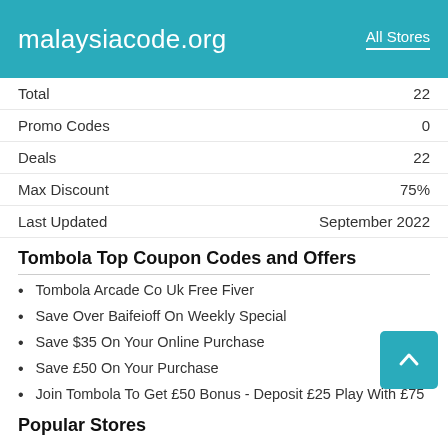malaysiacode.org   All Stores
|  |  |
| --- | --- |
| Total | 22 |
| Promo Codes | 0 |
| Deals | 22 |
| Max Discount | 75% |
| Last Updated | September 2022 |
Tombola Top Coupon Codes and Offers
Tombola Arcade Co Uk Free Fiver
Save Over Baifeioff On Weekly Special
Save $35 On Your Online Purchase
Save £50 On Your Purchase
Join Tombola To Get £50 Bonus - Deposit £25 Play With £75
Popular Stores